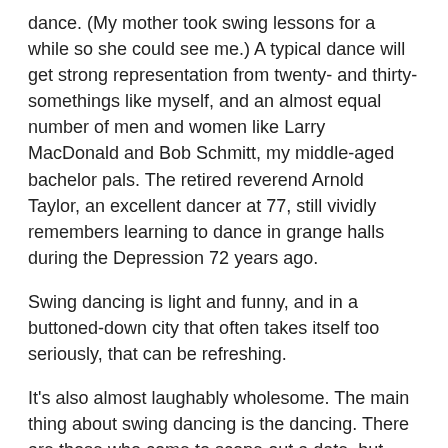dance. (My mother took swing lessons for a while so she could see me.) A typical dance will get strong representation from twenty- and thirty-somethings like myself, and an almost equal number of men and women like Larry MacDonald and Bob Schmitt, my middle-aged bachelor pals. The retired reverend Arnold Taylor, an excellent dancer at 77, still vividly remembers learning to dance in grange halls during the Depression 72 years ago.
Swing dancing is light and funny, and in a buttoned-down city that often takes itself too seriously, that can be refreshing.
It's also almost laughably wholesome. The main thing about swing dancing is the dancing. There are those who come to scope out a date, but they usually fall into two categories: the uncommitted types who give up after a few dances yield them no dates, or the converts who discover that they'd rather be dancing than romancing, anyway.
There are some rules of engagement, of course. In no particular order, they are: Do nothing untoward; if someone asks you to dance and you're out of breath, politely decline, but seek them out for a dance later; remember that you, too, were once a beginner; don't eat excessively before dancing because dancing is hard; do not eat to...